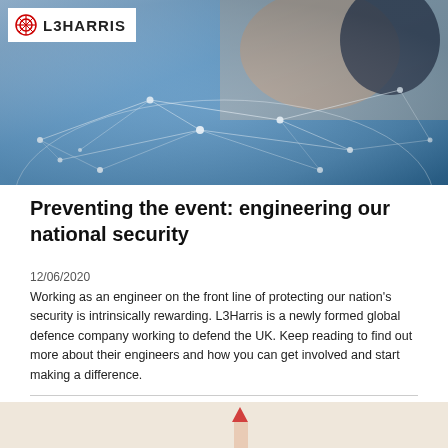[Figure (photo): Hero image showing two professionals looking at a network/connectivity visualization globe with blue glowing lines and nodes. L3Harris logo in top-left corner on white background box.]
Preventing the event: engineering our national security
12/06/2020
Working as an engineer on the front line of protecting our nation's security is intrinsically rewarding. L3Harris is a newly formed global defence company working to defend the UK. Keep reading to find out more about their engineers and how you can get involved and start making a difference.
[Figure (photo): Bottom partial image showing what appears to be a pencil or pen on a light surface, partially cropped.]